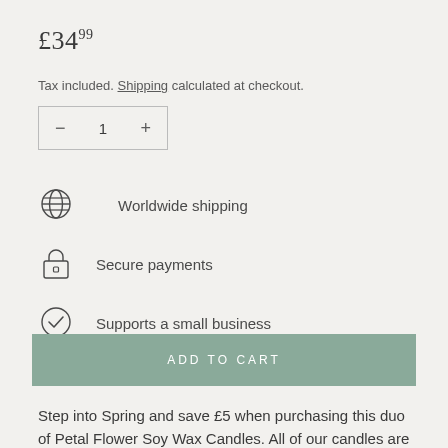£34.99
Tax included. Shipping calculated at checkout.
- 1 +
Worldwide shipping
Secure payments
Supports a small business
ADD TO CART
Step into Spring and save £5 when purchasing this duo of Petal Flower Soy Wax Candles. All of our candles are for decorative use only - however if you do wish to light please use a plate. The Petal Flower Candle Pack is available as a single in white, peony pink, sage green, lilac and butter yellow. Gifting this candle